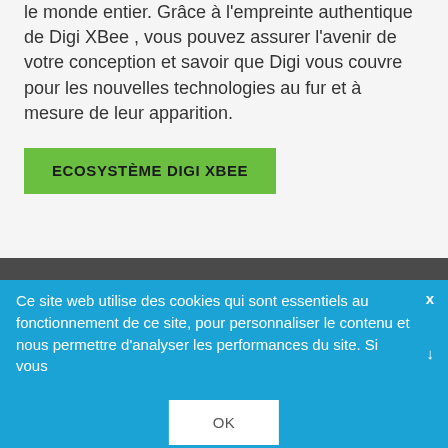Tous permet de vous connecter dans n'importe quel réseau dans le monde entier. Grâce à l'empreinte authentique de Digi XBee , vous pouvez assurer l'avenir de votre conception et savoir que Digi vous couvre pour les nouvelles technologies au fur et à mesure de leur apparition.
ECOSYSTÈME DIGI XBEE
Ce site web utilise des cookies qui sont essentiels au fonctionnement de ce site, pour personnaliser le contenu et nous permettre d'analyser les performances du site. Si vous
OK